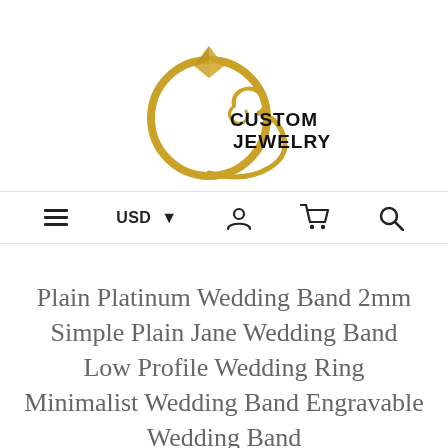[Figure (logo): Custom Jewelry logo with a golden ring and diamond shape, with an ornate C-shaped swirl and the text CUSTOM JEWELRY in bold black serif lettering]
[Figure (screenshot): Navigation bar with hamburger menu, USD currency selector with dropdown arrow, user account icon, shopping cart icon, and search icon]
Plain Platinum Wedding Band 2mm Simple Plain Jane Wedding Band Low Profile Wedding Ring Minimalist Wedding Band Engravable Wedding Band